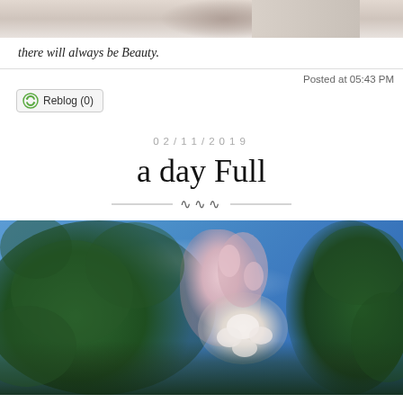[Figure (photo): Partial view of a photo at top of page, appears to be a close-up of an object with warm/neutral tones — cropped, only bottom portion visible]
there will always be Beauty.
Posted at 05:43 PM
[Figure (screenshot): Reblog (0) button with green recycling-style icon]
02/11/2019
a day Full
[Figure (photo): Close-up photograph of flowering plant with round green leaves and small white/pink bud clusters against a bright blue sky with faint clouds]